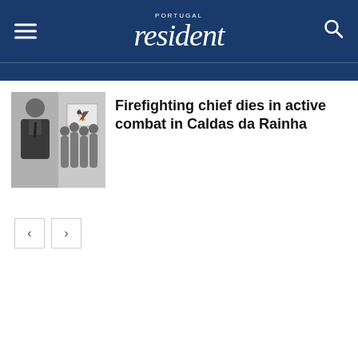Portugal Resident
[Figure (photo): Two-panel photo: left shows a man in uniform, right shows a group of people holding a flag with an emblem.]
Firefighting chief dies in active combat in Caldas da Rainha